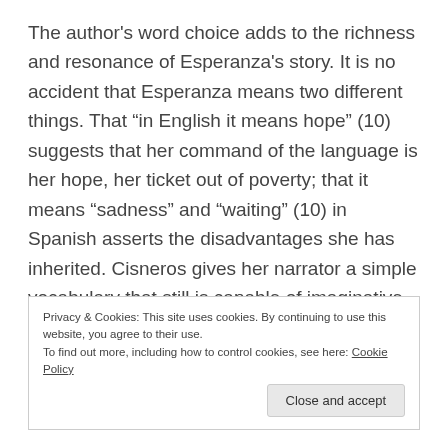The author's word choice adds to the richness and resonance of Esperanza's story. It is no accident that Esperanza means two different things. That “in English it means hope” (10) suggests that her command of the language is her hope, her ticket out of poverty; that it means “sadness” and “waiting” (10) in Spanish asserts the disadvantages she has inherited. Cisneros gives her narrator a simple vocabulary that still is capable of imaginative descriptions and keen observations. In this way, the author is true to her character as she presents her narrator as writer-material. In essence, as Cisneros
Privacy & Cookies: This site uses cookies. By continuing to use this website, you agree to their use.
To find out more, including how to control cookies, see here: Cookie Policy